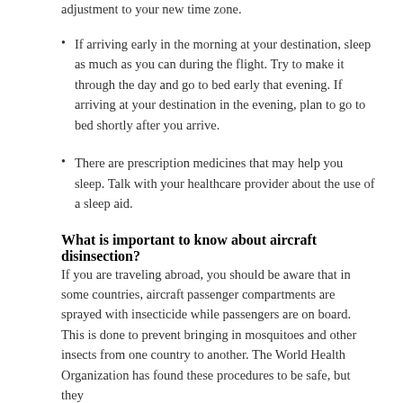adjustment to your new time zone.
If arriving early in the morning at your destination, sleep as much as you can during the flight. Try to make it through the day and go to bed early that evening. If arriving at your destination in the evening, plan to go to bed shortly after you arrive.
There are prescription medicines that may help you sleep. Talk with your healthcare provider about the use of a sleep aid.
What is important to know about aircraft disinsection?
If you are traveling abroad, you should be aware that in some countries, aircraft passenger compartments are sprayed with insecticide while passengers are on board. This is done to prevent bringing in mosquitoes and other insects from one country to another. The World Health Organization has found these procedures to be safe, but they